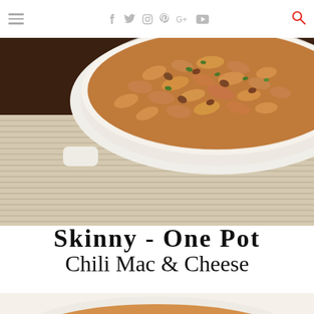Navigation bar with hamburger menu, social icons (f, twitter, instagram, pinterest, google+, youtube), and search icon
[Figure (photo): Overhead close-up photo of a white ceramic baking dish filled with chili mac and cheese (elbow macaroni in orange-red cheesy chili sauce with ground meat), garnished with chopped green herbs, sitting on a striped beige placemat on a dark wood surface.]
Skinny - One Pot Chili Mac & Cheese
[Figure (photo): Partial bottom photo showing the rim of a white ceramic dish with chili mac and cheese, cropped at the bottom of the page.]